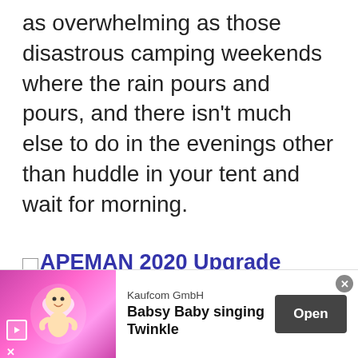as overwhelming as those disastrous camping weekends where the rain pours and pours, and there isn't much else to do in the evenings other than huddle in your tent and wait for morning.
APEMAN 2020 Upgrade 12.5" Portable DVD Player with 10.5" HD Swivel Screen, 6 Hour Rechargeable Battery for Car/Kids, Car Headrest Mount
[Figure (screenshot): Advertisement banner for Babsy Baby singing Twinkle app by Kaufcom GmbH, with an Open button]